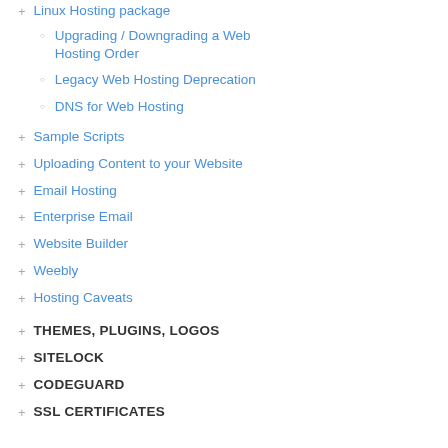+ Linux Hosting package
○ Upgrading / Downgrading a Web Hosting Order
○ Legacy Web Hosting Deprecation
○ DNS for Web Hosting
+ Sample Scripts
+ Uploading Content to your Website
+ Email Hosting
+ Enterprise Email
+ Website Builder
+ Weebly
+ Hosting Caveats
+ THEMES, PLUGINS, LOGOS
+ SITELOCK
+ CODEGUARD
+ SSL CERTIFICATES